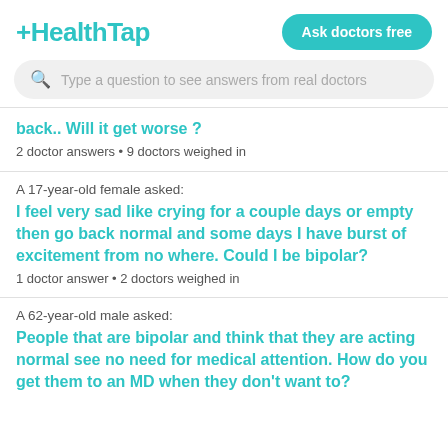+HealthTap | Ask doctors free
[Figure (screenshot): Search bar with placeholder text: Type a question to see answers from real doctors]
back.. Will it get worse ?
2 doctor answers • 9 doctors weighed in
A 17-year-old female asked:
I feel very sad like crying for a couple days or empty then go back normal and some days I have burst of excitement from no where. Could I be bipolar?
1 doctor answer • 2 doctors weighed in
A 62-year-old male asked:
People that are bipolar and think that they are acting normal see no need for medical attention. How do you get them to an MD when they don't want to?